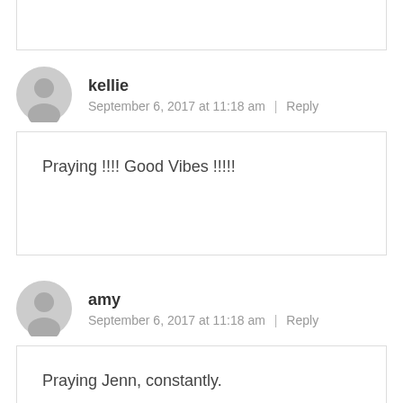kellie
September 6, 2017 at 11:18 am | Reply
Praying !!!! Good Vibes !!!!!
amy
September 6, 2017 at 11:18 am | Reply
Praying Jenn, constantly.